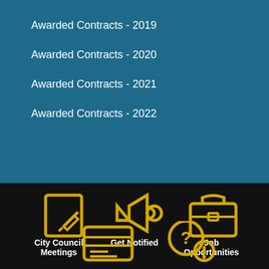Awarded Contracts - 2019
Awarded Contracts - 2020
Awarded Contracts - 2021
Awarded Contracts - 2022
[Figure (infographic): Three yellow outline icons on dark background: a document with pen (City Council Meetings), a megaphone (Get Notified), and a briefcase (Job Opportunities)]
[Figure (infographic): Two yellow outline icons on dark background: a credit card (partially visible) and a speech bubble with question mark (partially visible)]